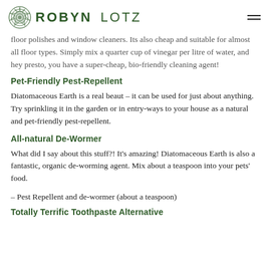ROBYN LOTZ
floor polishes and window cleaners. Its also cheap and suitable for almost all floor types. Simply mix a quarter cup of vinegar per litre of water, and hey presto, you have a super-cheap, bio-friendly cleaning agent!
Pet-Friendly Pest-Repellent
Diatomaceous Earth is a real beaut – it can be used for just about anything. Try sprinkling it in the garden or in entry-ways to your house as a natural and pet-friendly pest-repellent.
All-natural De-Wormer
What did I say about this stuff?! It's amazing! Diatomaceous Earth is also a fantastic, organic de-worming agent. Mix about a teaspoon into your pets' food.
– Pest Repellent and de-wormer (about a teaspoon)
Totally Terrific Toothpaste Alternative